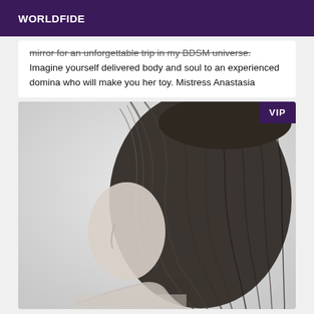WORLDFIDE
mirror for an unforgettable trip in my BDSM universe. Imagine yourself delivered body and soul to an experienced domina who will make you her toy. Mistress Anastasia
[Figure (photo): Black and white photo showing the back of a woman's head with long dark hair, face partially visible in profile, against a light background. VIP badge in top right corner.]